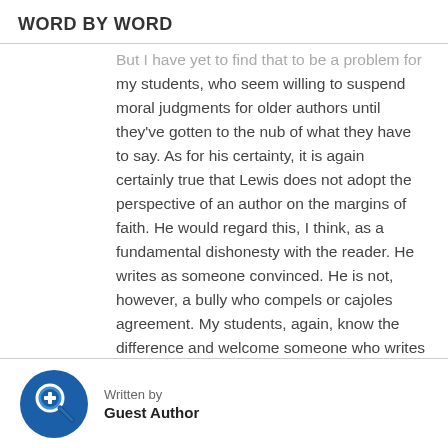WORD BY WORD
But I have yet to find that to be a problem for my students, who seem willing to suspend moral judgments for older authors until they've gotten to the nub of what they have to say. As for his certainty, it is again certainly true that Lewis does not adopt the perspective of an author on the margins of faith. He would regard this, I think, as a fundamental dishonesty with the reader. He writes as someone convinced. He is not, however, a bully who compels or cajoles agreement. My students, again, know the difference and welcome someone who writes with conviction without belittling them in their
Written by
Guest Author